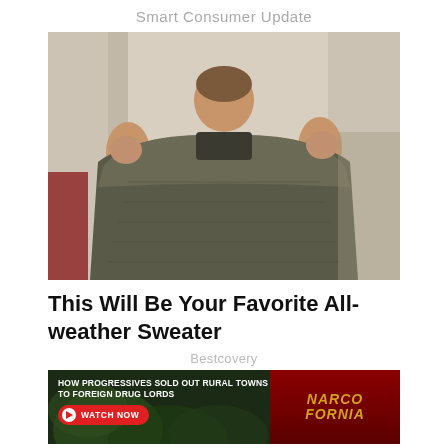Smart Consumer Update
[Figure (photo): Person holding up a dark olive/khaki colored sweater stretched wide, face partially obscured by the sweater's collar]
This Will Be Your Favorite All-weather Sweater
Bestcovery
[Figure (infographic): Advertisement banner: HOW PROGRESSIVES SOLD OUT RURAL TOWNS TO FOREIGN DRUG LORDS - WATCH NOW - NARCOFORNIA]